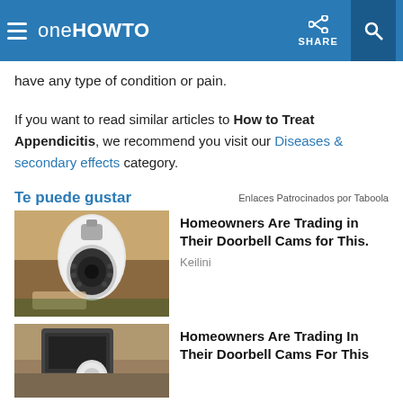oneHOWTO — SHARE
have any type of condition or pain.
If you want to read similar articles to How to Treat Appendicitis, we recommend you visit our Diseases & secondary effects category.
Te puede gustar
Enlaces Patrocinados por Taboola
[Figure (photo): Hand holding a light-bulb shaped security camera]
Homeowners Are Trading in Their Doorbell Cams for This.
Keilini
[Figure (photo): Outdoor light fixture with bulb camera installed]
Homeowners Are Trading In Their Doorbell Cams For This